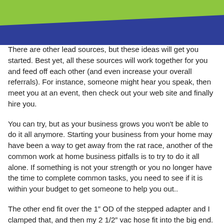[Figure (illustration): Decorative header with overlapping green and blue diagonal bands]
There are other lead sources, but these ideas will get you started. Best yet, all these sources will work together for you and feed off each other (and even increase your overall referrals). For instance, someone might hear you speak, then meet you at an event, then check out your web site and finally hire you.
You can try, but as your business grows you won't be able to do it all anymore. Starting your business from your home may have been a way to get away from the rat race, another of the common work at home business pitfalls is to try to do it all alone. If something is not your strength or you no longer have the time to complete common tasks, you need to see if it is within your budget to get someone to help you out..
The other end fit over the 1” OD of the stepped adapter and I clamped that, and then my 2 1/2” vac hose fit into the big end. I haven’t tried it yet, but I know it will work just fine. I